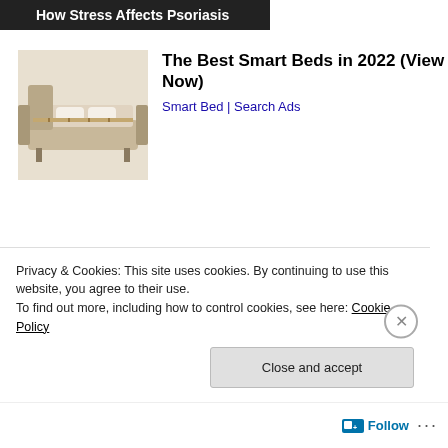How Stress Affects Psoriasis
[Figure (photo): Smart bed product photo]
The Best Smart Beds in 2022 (View Now)
Smart Bed | Search Ads
[Figure (photo): Vintage kitchen appliance black and white photo]
Only Older Souls Can Pass This Vintage Item Quiz
WarpedSpeed
Privacy & Cookies: This site uses cookies. By continuing to use this website, you agree to their use.
To find out more, including how to control cookies, see here: Cookie Policy
Close and accept